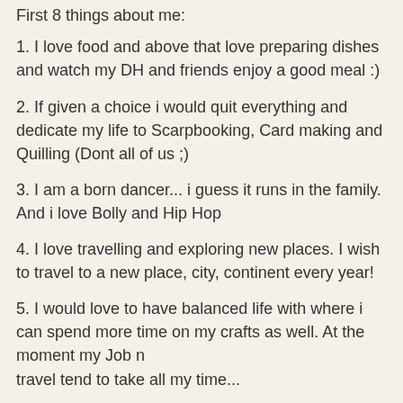First 8 things about me:
1. I love food and above that love preparing dishes and watch my DH and friends enjoy a good meal :)
2. If given a choice i would quit everything and dedicate my life to Scarpbooking, Card making and Quilling (Dont all of us ;)
3. I am a born dancer... i guess it runs in the family. And i love Bolly and Hip Hop
4. I love travelling and exploring new places. I wish to travel to a new place, city, continent every year!
5. I would love to have balanced life with where i can spend more time on my crafts as well. At the moment my Job n travel tend to take all my time...